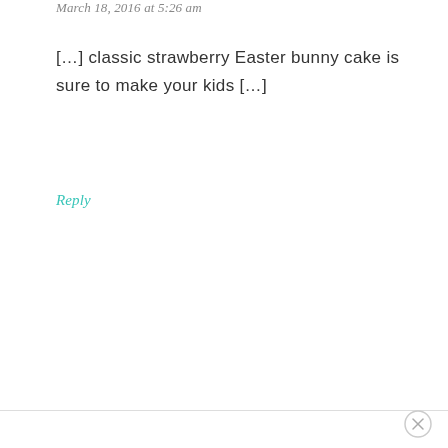March 18, 2016 at 5:26 am
[…] classic strawberry Easter bunny cake is sure to make your kids […]
Reply
×